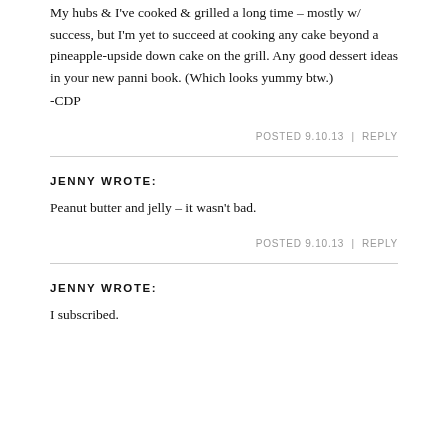My hubs & I've cooked & grilled a long time – mostly w/ success, but I'm yet to succeed at cooking any cake beyond a pineapple-upside down cake on the grill. Any good dessert ideas in your new panni book. (Which looks yummy btw.)
-CDP
POSTED 9.10.13 | REPLY
JENNY WROTE:
Peanut butter and jelly – it wasn't bad.
POSTED 9.10.13 | REPLY
JENNY WROTE:
I subscribed.